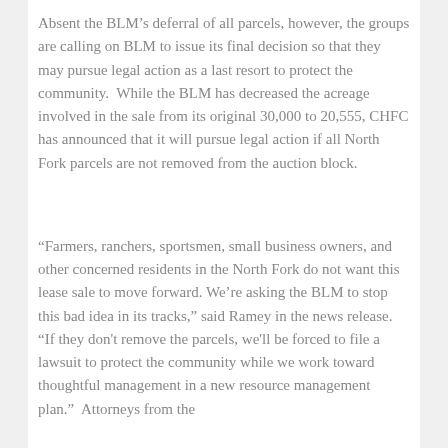Absent the BLM's deferral of all parcels, however, the groups are calling on BLM to issue its final decision so that they may pursue legal action as a last resort to protect the community.  While the BLM has decreased the acreage involved in the sale from its original 30,000 to 20,555, CHFC has announced that it will pursue legal action if all North Fork parcels are not removed from the auction block.
“Farmers, ranchers, sportsmen, small business owners, and other concerned residents in the North Fork do not want this lease sale to move forward. We’re asking the BLM to stop this bad idea in its tracks,” said Ramey in the news release. “If they don't remove the parcels, we'll be forced to file a lawsuit to protect the community while we work toward thoughtful management in a new resource management plan.”  Attorneys from the